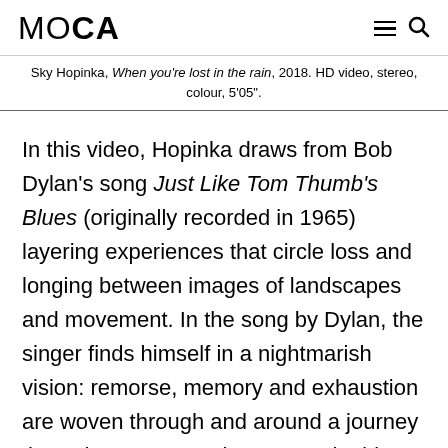MOCA
Sky Hopinka, When you're lost in the rain, 2018. HD video, stereo, colour, 5'05".
In this video, Hopinka draws from Bob Dylan's song Just Like Tom Thumb's Blues (originally recorded in 1965) layering experiences that circle loss and longing between images of landscapes and movement. In the song by Dylan, the singer finds himself in a nightmarish vision: remorse, memory and exhaustion are woven through and around a journey through Juarez, Mexico. So too in this video are these stories woven around